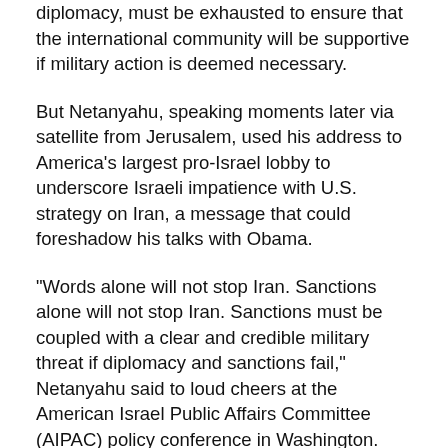diplomacy, must be exhausted to ensure that the international community will be supportive if military action is deemed necessary.
But Netanyahu, speaking moments later via satellite from Jerusalem, used his address to America's largest pro-Israel lobby to underscore Israeli impatience with U.S. strategy on Iran, a message that could foreshadow his talks with Obama.
"Words alone will not stop Iran. Sanctions alone will not stop Iran. Sanctions must be coupled with a clear and credible military threat if diplomacy and sanctions fail," Netanyahu said to loud cheers at the American Israel Public Affairs Committee (AIPAC) policy conference in Washington.
Despite the tough rhetoric, the hawkish prime minister gave no indication that Israel was ready to act precipitously at a time when world powers have re-engaged with Iran in new negotiations and he himself is caught up in the delicate task of forming a new government after January...